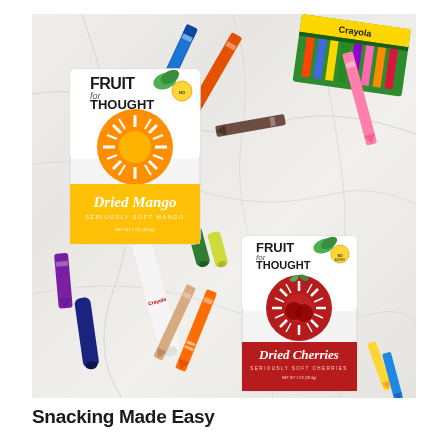[Figure (photo): Overhead photo on a white marble surface showing two 'Fruit for Thought' snack packets (one Dried Mango, one Dried Cherries) surrounded by scattered Crayola crayons and markers in various colors including red, blue, orange, green, yellow, purple, brown, and pink.]
Snacking Made Easy